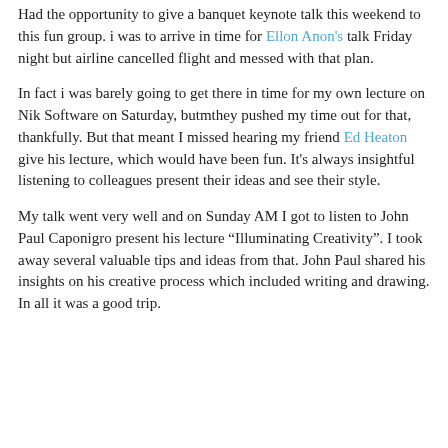Had the opportunity to give a banquet keynote talk this weekend to this fun group. i was to arrive in time for Ellon Anon's talk Friday night but airline cancelled flight and messed with that plan.
In fact i was barely going to get there in time for my own lecture on Nik Software on Saturday, butmthey pushed my time out for that, thankfully. But that meant I missed hearing my friend Ed Heaton give his lecture, which would have been fun. It’s always insightful listening to colleagues present their ideas and see their style.
My talk went very well and on Sunday AM I got to listen to John Paul Caponigro present his lecture “Illuminating Creativity”. I took away several valuable tips and ideas from that. John Paul shared his insights on his creative process which included writing and drawing. In all it was a good trip.